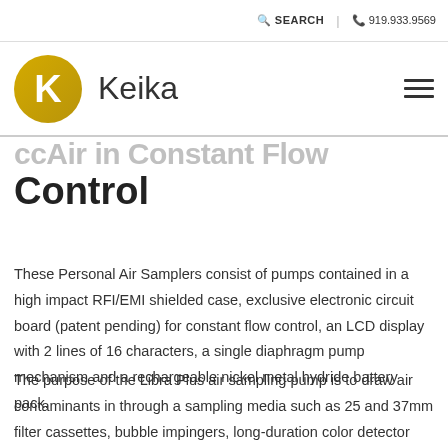SEARCH | 919.933.9569
[Figure (logo): Keika company logo: gold circle with white K letter, followed by the text 'Keika' in dark grey]
...Constant Flow Control
These Personal Air Samplers consist of pumps contained in a high impact RFI/EMI shielded case, exclusive electronic circuit board (patent pending) for constant flow control, an LCD display with 2 lines of 16 characters, a single diaphragm pump mechanism and a rechargeable nickel metal hydride battery pack.
The purpose of the Libra Plus air sampling pump is to draw air contaminants in through a sampling media such as 25 and 37mm filter cassettes, bubble impingers, long-duration color detector tubes; to